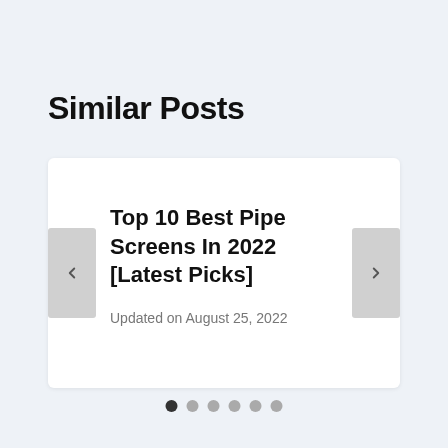Similar Posts
Top 10 Best Pipe Screens In 2022 [Latest Picks]
Updated on August 25, 2022